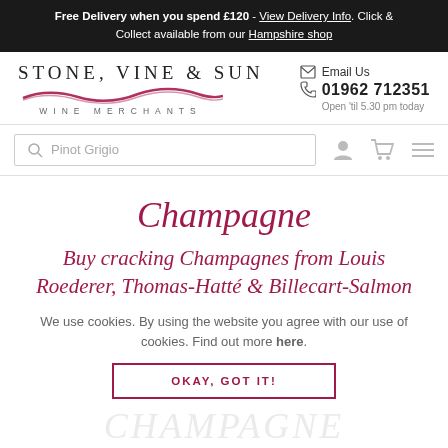Free Delivery when you spend £120 - View Delivery Info. Click & Collect available from our Hampshire shop
[Figure (logo): Stone, Vine & Sun Wine Merchants logo with red wave graphic]
Email Us
01962 712351
Open 'til 5.30 pm today
[Figure (screenshot): Search bar with Pinot Grigio placeholder text, user icon, cart icon, and hamburger menu]
Champagne
Buy cracking Champagnes from Louis Roederer, Thomas-Hatté & Billecart-Salmon
We use cookies. By using the website you agree with our use of cookies. Find out more here.
OKAY, GOT IT!